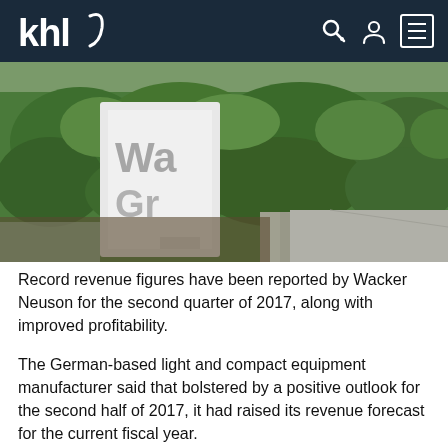khl
[Figure (photo): Exterior photo of a sign reading 'Wa... Gr...' (Wacker Group) surrounded by green hedges and shrubs, with a paved pathway visible. Corporate entrance signage.]
Record revenue figures have been reported by Wacker Neuson for the second quarter of 2017, along with improved profitability.
The German-based light and compact equipment manufacturer said that bolstered by a positive outlook for the second half of 2017, it had raised its revenue forecast for the current fiscal year.